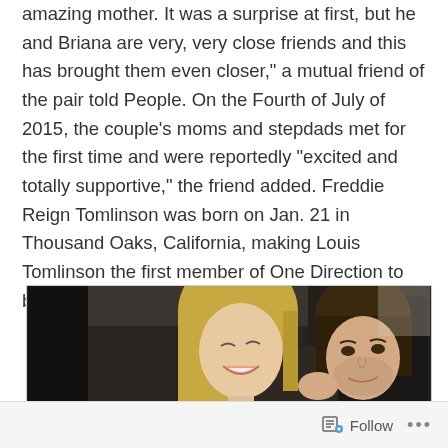amazing mother. It was a surprise at first, but he and Briana are very, very close friends and this has brought them even closer," a mutual friend of the pair told People. On the Fourth of July of 2015, the couple's moms and stepdads met for the first time and were reportedly "excited and totally supportive," the friend added. Freddie Reign Tomlinson was born on Jan. 21 in Thousand Oaks, California, making Louis Tomlinson the first member of One Direction to become a dad.
[Figure (photo): A photo inside a car showing a smiling blonde woman and a young man with brown hair, taken in a dark interior setting]
Follow ...